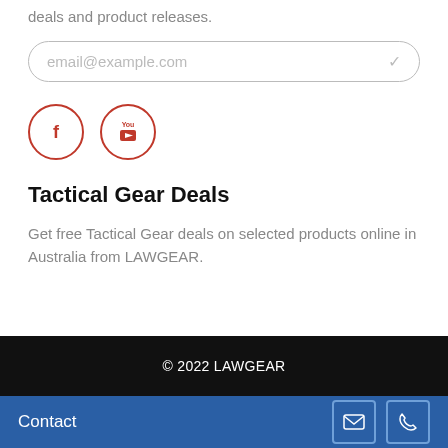deals and product releases.
[Figure (other): Email input field with placeholder text 'email@example.com' and a checkmark icon on the right, styled with rounded border]
[Figure (other): Two circular social media icons with red borders: Facebook (f) and YouTube (You/Tube logo)]
Tactical Gear Deals
Get free Tactical Gear deals on selected products online in Australia from LAWGEAR.
© 2022 LAWGEAR
Contact